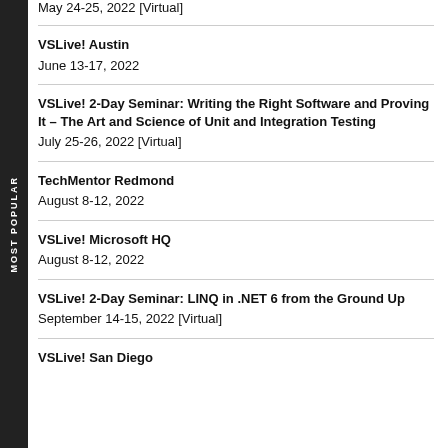May 24-25, 2022 [Virtual]
VSLive! Austin
June 13-17, 2022
VSLive! 2-Day Seminar: Writing the Right Software and Proving It – The Art and Science of Unit and Integration Testing
July 25-26, 2022 [Virtual]
TechMentor Redmond
August 8-12, 2022
VSLive! Microsoft HQ
August 8-12, 2022
VSLive! 2-Day Seminar: LINQ in .NET 6 from the Ground Up
September 14-15, 2022 [Virtual]
VSLive! San Diego